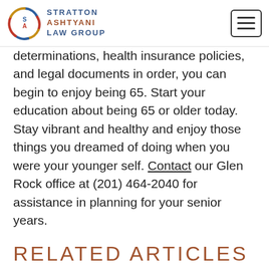Stratton Ashtyani Law Group
determinations, health insurance policies, and legal documents in order, you can begin to enjoy being 65. Start your education about being 65 or older today. Stay vibrant and healthy and enjoy those things you dreamed of doing when you were your younger self. Contact our Glen Rock office at (201) 464-2040 for assistance in planning for your senior years.
RELATED ARTICLES